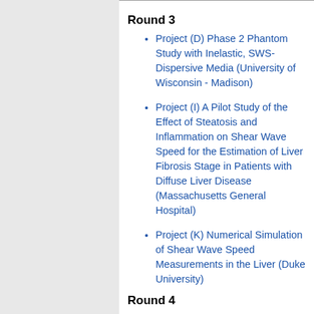Round 3
Project (D) Phase 2 Phantom Study with Inelastic, SWS-Dispersive Media (University of Wisconsin - Madison)
Project (I) A Pilot Study of the Effect of Steatosis and Inflammation on Shear Wave Speed for the Estimation of Liver Fibrosis Stage in Patients with Diffuse Liver Disease (Massachusetts General Hospital)
Project (K) Numerical Simulation of Shear Wave Speed Measurements in the Liver (Duke University)
Round 4
Project (W) Beyond Confounders-Addressing Sources of Measurement Variability and Error in Shear Wave Elastography (Massachusetts